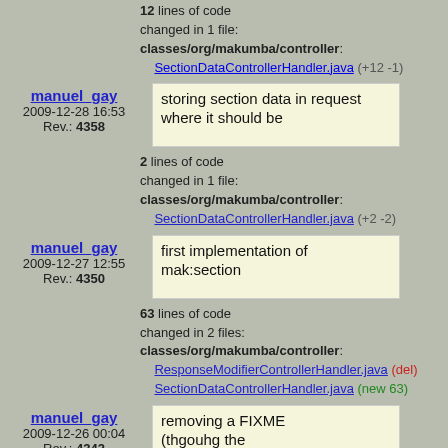12 lines of code changed in 1 file: classes/org/makumba/controller: SectionDataControllerHandler.java (+12 -1)
manuel_gay
2009-12-28 16:53
Rev.: 4358
storing section data in request where it should be
2 lines of code changed in 1 file: classes/org/makumba/controller: SectionDataControllerHandler.java (+2 -2)
manuel_gay
2009-12-27 12:55
Rev.: 4350
first implementation of mak:section
63 lines of code changed in 2 files: classes/org/makumba/controller: ResponseModifierControllerHandler.java (del) SectionDataControllerHandler.java (new 63)
manuel_gay
2009-12-26 00:04
Rev.: 4342
removing a FIXME (throuhg the